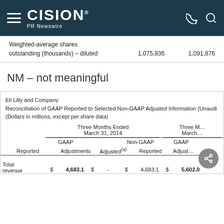CISION PR Newswire
|  |  |  |
| --- | --- | --- |
| Weighted-average shares |  |  |
| outstanding (thousands) – diluted | 1,075,836 | 1,091,876 |
NM – not meaningful
Eli Lilly and Company
Reconciliation of GAAP Reported to Selected Non-GAAP Adjusted Information (Unaudited)
(Dollars in millions, except per share data)
|  | Three Months Ended March 31, 2014 GAAP Reported | Three Months Ended March 31, 2014 Adjustments | Three Months Ended March 31, 2014 Non-GAAP Adjusted(a) | Three Months Ended March 31, (year) GAAP Reported | Three Months Ended March 31, (year) Adjust... |
| --- | --- | --- | --- | --- | --- |
| Total revenue | $ | 4,683.1 | $ | - | $ | 4,683.1 | $ | 5,602.0 |